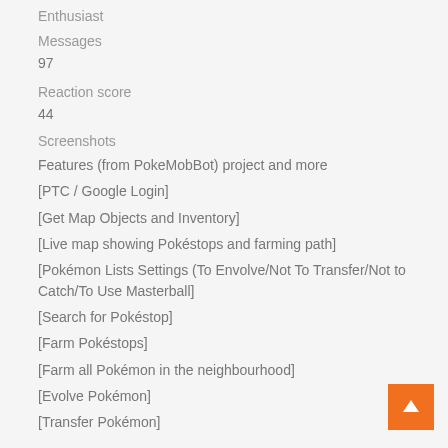Enthusiast
Messages
97
Reaction score
44
Screenshots
Features (from PokeMobBot) project and more
[PTC / Google Login]
[Get Map Objects and Inventory]
[Live map showing Pokéstops and farming path]
[Pokémon Lists Settings (To Envolve/Not To Transfer/Not to Catch/To Use Masterball]
[Search for Pokéstop]
[Farm Pokéstops]
[Farm all Pokémon in the neighbourhood]
[Evolve Pokémon]
[Transfer Pokémon]